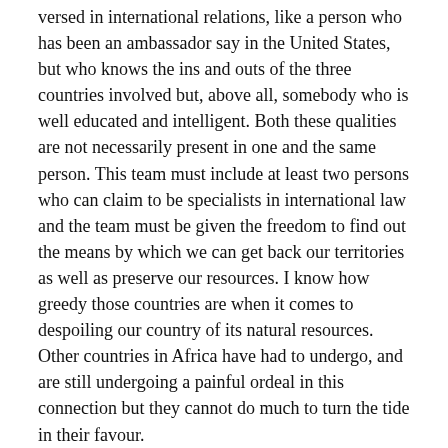versed in international relations, like a person who has been an ambassador say in the United States, but who knows the ins and outs of the three countries involved but, above all, somebody who is well educated and intelligent. Both these qualities are not necessarily present in one and the same person. This team must include at least two persons who can claim to be specialists in international law and the team must be given the freedom to find out the means by which we can get back our territories as well as preserve our resources. I know how greedy those countries are when it comes to despoiling our country of its natural resources. Other countries in Africa have had to undergo, and are still undergoing a painful ordeal in this connection but they cannot do much to turn the tide in their favour.
The MMM's Election Fatigue
A Third Point: It seems to me that the MMM is still suffering from what we think is election fatigue. Yet this should not be so, because the last general election was held quite some time ago